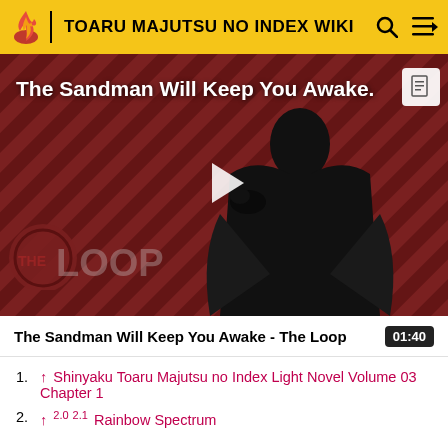TOARU MAJUTSU NO INDEX WIKI
[Figure (screenshot): Video thumbnail for 'The Sandman Will Keep You Awake - The Loop' showing a dark-clad figure against a striped red/dark background with THE LOOP logo and a play button overlay.]
The Sandman Will Keep You Awake - The Loop  01:40
1. ↑ Shinyaku Toaru Majutsu no Index Light Novel Volume 03 Chapter 1
2. ↑ 2.0 2.1 Rainbow Spectrum